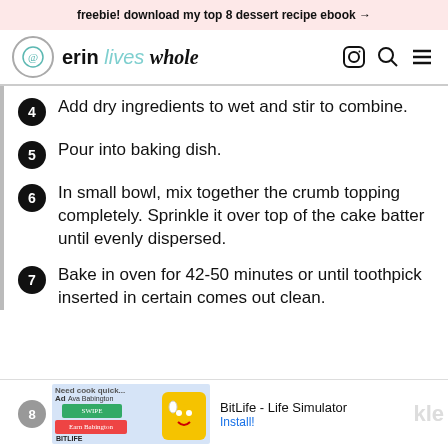freebie! download my top 8 dessert recipe ebook →
erin lives whole
4 Add dry ingredients to wet and stir to combine.
5 Pour into baking dish.
6 In small bowl, mix together the crumb topping completely. Sprinkle it over top of the cake batter until evenly dispersed.
7 Bake in oven for 42-50 minutes or until toothpick inserted in certain comes out clean.
8 [ad: BitLife - Life Simulator Install! ...kle]